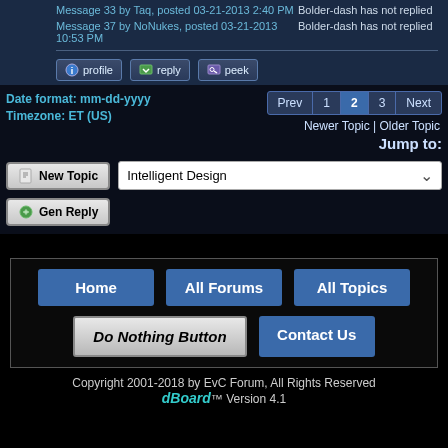Message 33 by Taq, posted 03-21-2013 2:40 PM
Bolder-dash has not replied
Message 37 by NoNukes, posted 03-21-2013 10:53 PM
Bolder-dash has not replied
profile  reply  peek
Date format: mm-dd-yyyy
Timezone: ET (US)
Prev 1 2 3 Next
Newer Topic | Older Topic
Jump to:
New Topic
Intelligent Design
Gen Reply
Home  All Forums  All Topics  Do Nothing Button  Contact Us
Copyright 2001-2018 by EvC Forum, All Rights Reserved
dBoard™ Version 4.1